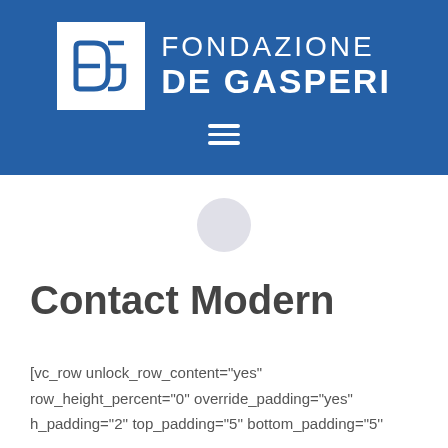[Figure (logo): Fondazione De Gasperi logo with blue background, white square containing stylized DG monogram, and white text FONDAZIONE DE GASPERI with hamburger menu icon below]
Contact Modern
[vc_row unlock_row_content="yes" row_height_percent="0'' override_padding="yes" h_padding="2'' top_padding="5'' bottom_padding="5''